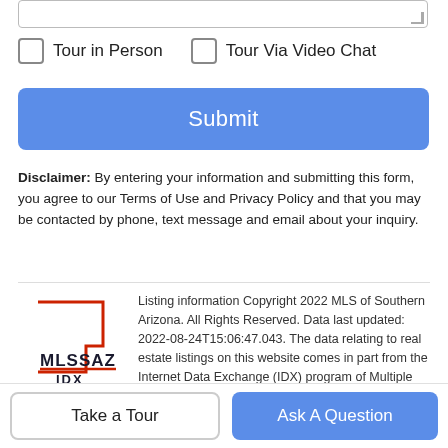[Figure (screenshot): Partial textarea input field at top of form]
Tour in Person
Tour Via Video Chat
Submit
Disclaimer: By entering your information and submitting this form, you agree to our Terms of Use and Privacy Policy and that you may be contacted by phone, text message and email about your inquiry.
[Figure (logo): MLSSAZ IDX logo - MLS of Southern Arizona]
Listing information Copyright 2022 MLS of Southern Arizona. All Rights Reserved. Data last updated: 2022-08-24T15:06:47.043. The data relating to real estate listings on this website comes in part from the Internet Data Exchange (IDX) program of Multiple Listing Service of Southern Arizona. IDX information is provided exclusively for consumers' personal, non-commercial use and may not be used for any purpose other than to identify prospective properties
Take a Tour
Ask A Question